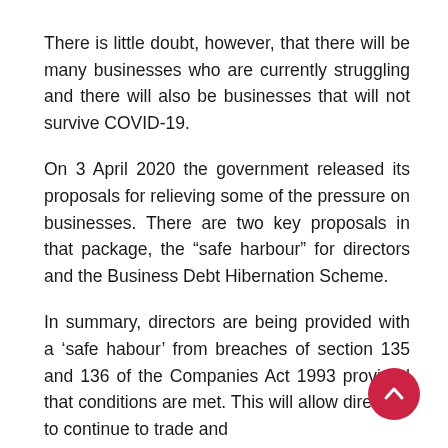There is little doubt, however, that there will be many businesses who are currently struggling and there will also be businesses that will not survive COVID-19.
On 3 April 2020 the government released its proposals for relieving some of the pressure on businesses. There are two key proposals in that package, the “safe harbour” for directors and the Business Debt Hibernation Scheme.
In summary, directors are being provided with a ‘safe habour’ from breaches of section 135 and 136 of the Companies Act 1993 provided that conditions are met. This will allow directors to continue to trade and